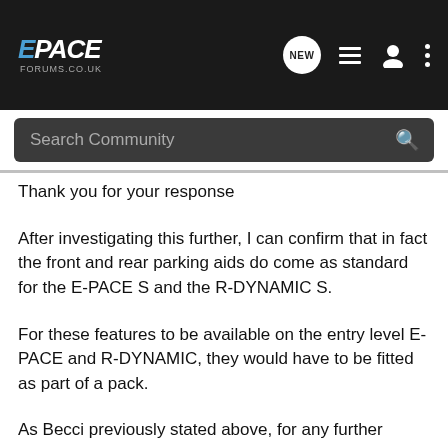E-PACE FORUMS.CO.UK
Thank you for your response
After investigating this further, I can confirm that in fact the front and rear parking aids do come as standard for the E-PACE S and the R-DYNAMIC S.
For these features to be available on the entry level E-PACE and R-DYNAMIC, they would have to be fitted as part of a pack.
As Becci previously stated above, for any further questions regarding the selection of packs available for all E-PACE derivatives, please refer to the brochure and the specification guide that can be found on the below link.